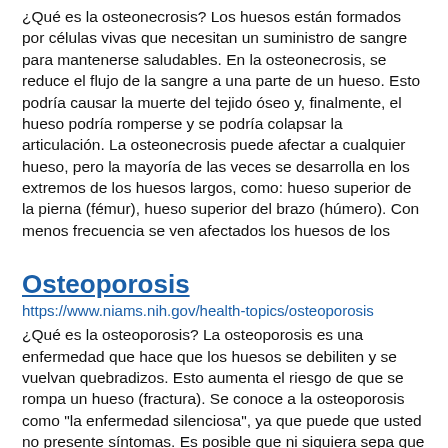¿Qué es la osteonecrosis? Los huesos están formados por células vivas que necesitan un suministro de sangre para mantenerse saludables. En la osteonecrosis, se reduce el flujo de la sangre a una parte de un hueso. Esto podría causar la muerte del tejido óseo y, finalmente, el hueso podría romperse y se podría colapsar la articulación. La osteonecrosis puede afectar a cualquier hueso, pero la mayoría de las veces se desarrolla en los extremos de los huesos largos, como: hueso superior de la pierna (fémur), hueso superior del brazo (húmero). Con menos frecuencia se ven afectados los huesos de los
Osteoporosis
https://www.niams.nih.gov/health-topics/osteoporosis
¿Qué es la osteoporosis? La osteoporosis es una enfermedad que hace que los huesos se debiliten y se vuelvan quebradizos. Esto aumenta el riesgo de que se rompa un hueso (fractura). Se conoce a la osteoporosis como "la enfermedad silenciosa", ya que puede que usted no presente síntomas. Es posible que ni siquiera sepa que tiene la enfermedad hasta que se le rompa un hueso. Las fracturas pueden suceder en cualquier hueso, pero ocurren con más frecuencia en: las caderas, las vértebras de la columna, la muñeca. Puede tomar las siguientes medidas para ayudar a prevenir la osteoporosis y evitar